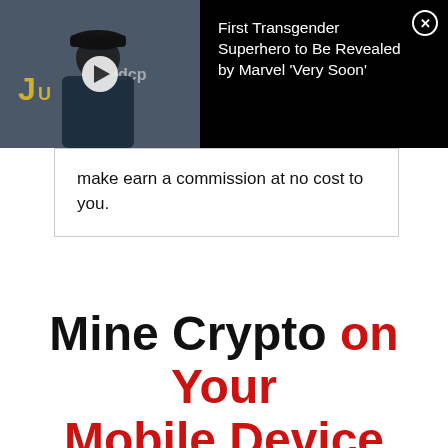[Figure (screenshot): Ad overlay showing a man in a black cap and navy suit at an event, with a play button icon, on a black background. Text reads: First Transgender Superhero to Be Revealed by Marvel 'Very Soon' with a close (X) button.]
make earn a commission at no cost to you.
Mine Crypto on Your Mobile Device Use Invitation code: